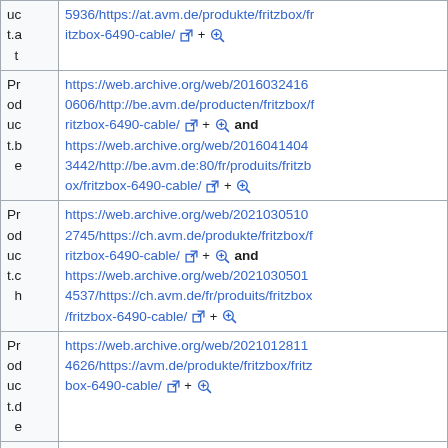| Label | URL |
| --- | --- |
| Product.at | 5936/https://at.avm.de/produkte/fritzbox/fritzbox-6490-cable/ [ext] + [zoom] |
| Product.be | https://web.archive.org/web/20160324160606/http://be.avm.de/producten/fritzbox/fritzbox-6490-cable/ [ext] + [zoom] and https://web.archive.org/web/20160414043442/http://be.avm.de:80/fr/produits/fritzbox/fritzbox-6490-cable/ [ext] + [zoom] |
| Product.ch | https://web.archive.org/web/20210305102745/https://ch.avm.de/produkte/fritzbox/fritzbox-6490-cable/ [ext] + [zoom] and https://web.archive.org/web/20210305014537/https://ch.avm.de/fr/produits/fritzbox/fritzbox-6490-cable/ [ext] + [zoom] |
| Product.de | https://web.archive.org/web/20210128114626/https://avm.de/produkte/fritzbox/fritzbox-6490-cable/ [ext] + [zoom] |
| Product.en | https://web.archive.org/web/20210813123141/https://en.avm.de/products/fritzbox/f |